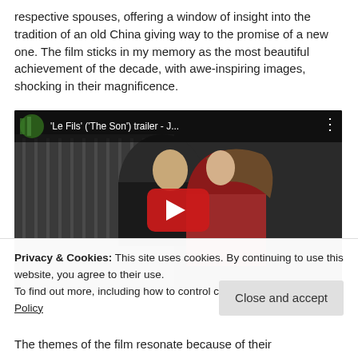respective spouses, offering a window of insight into the tradition of an old China giving way to the promise of a new one. The film sticks in my memory as the most beautiful achievement of the decade, with awe-inspiring images, shocking in their magnificence.
[Figure (screenshot): YouTube video embed showing 'Le Fils' ('The Son') trailer with a man and a girl embracing, with a red YouTube play button in the center.]
Privacy & Cookies: This site uses cookies. By continuing to use this website, you agree to their use.
To find out more, including how to control cookies, see here: Cookie Policy
Close and accept
The themes of the film resonate because of their